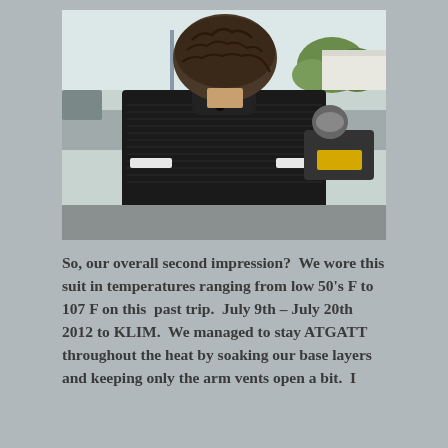[Figure (photo): Back view of a person wearing a black mesh motorcycle jacket with a zipper pull at the collar. In the background, another motorcyclist on a yellow and black motorcycle is visible, along with a parking lot and trees.]
So, our overall second impression?  We wore this suit in temperatures ranging from low 50's F to 107 F on this  past trip.  July 9th – July 20th 2012 to KLIM.  We managed to stay ATGATT throughout the heat by soaking our base layers and keeping only the arm vents open a bit.  I